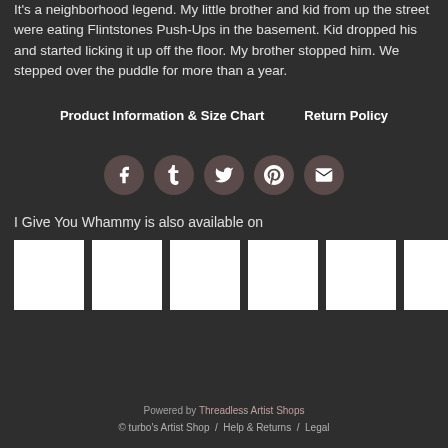It's a neighborhood legend. My little brother and kid from up the street were eating Flintstones Push-Ups in the basement. Kid dropped his and started licking it up off the floor. My brother stopped him. We stepped over the puddle for more than a year.
Product Information & Size Chart
Return Policy
[Figure (infographic): Row of 5 social media icon buttons: Facebook (f), Tumblr (t), Twitter, Pinterest, and Email (envelope), each in a circular button with dark reddish-gray background.]
I Give You Whammy is also available on
[Figure (photo): Row of 6 white square product thumbnail images]
Powered by Threadless Artist Shops
© turbo's Artist Shop / Help & Returns / Legal